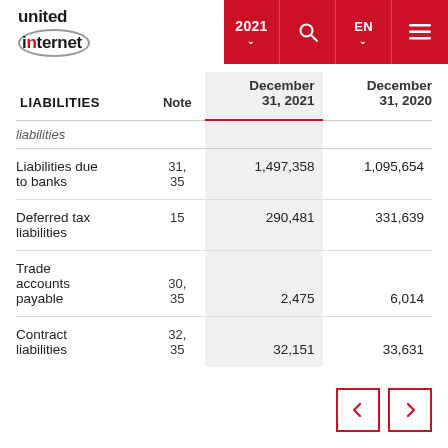united internet | 2021 | EN
| LIABILITIES | Note | December 31, 2021 | December 31, 2020 |
| --- | --- | --- | --- |
| liabilities |  |  |  |
| Liabilities due to banks | 31, 35 | 1,497,358 | 1,095,654 |
| Deferred tax liabilities | 15 | 290,481 | 331,639 |
| Trade accounts payable | 30, 35 | 2,475 | 6,014 |
| Contract liabilities | 32, 35 | 32,151 | 33,631 |